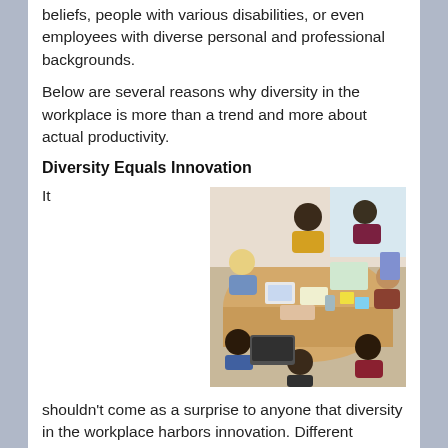beliefs, people with various disabilities, or even employees with diverse personal and professional backgrounds.
Below are several reasons why diversity in the workplace is more than a trend and more about actual productivity.
Diversity Equals Innovation
It
[Figure (photo): Aerial view of a diverse group of people sitting around a table, collaborating and working with papers, laptops, and notebooks.]
shouldn't come as a surprise to anyone that diversity in the workplace harbors innovation. Different backgrounds, age groups, races, ethnicities, and so on, will bring a different perspective to the table, allowing a company to better think outside the box and improve their products and services, as well as the inner workings of the